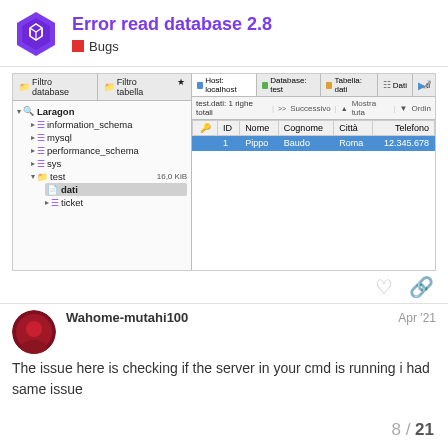Error read database 2.8 — Bugs
[Figure (screenshot): Screenshot of a database GUI (similar to HeidiSQL/TablePlus) showing: left panel with database tree (Laragon > information_schema, mysql, performance_schema, sys, test [16,0 KiB] > dati [selected], ticket), right panel with tabs (Host: localhost, Database: test, Tabella: dati, Dati), toolbar (test.dati: 1 righe totali, Successivo, Mostra tuta, Ordin), and data table with columns (ID, Nome, Cognome, Città, Telefono) and one row (1, Pippo, Baudo, Roma, 12.345.678).]
Wahome-mutahi100    Apr '21
The issue here is checking if the server in your cmd is running i had same issue
8 / 21